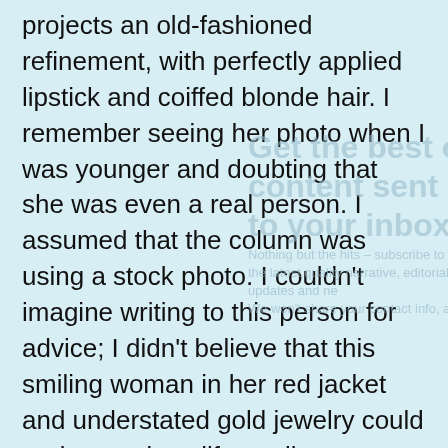projects an old-fashioned refinement, with perfectly applied lipstick and coiffed blonde hair. I remember seeing her photo when I was younger and doubting that she was even a real person. I assumed that the column was using a stock photo. I couldn't imagine writing to this person for advice; I didn't believe that this smiling woman in her red jacket and understated gold jewelry could understand my life at all.

In the history of the modern